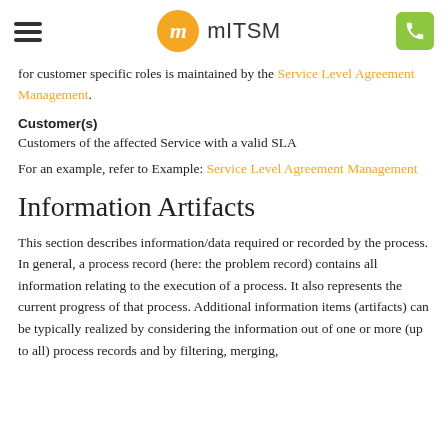mITSM
for customer specific roles is maintained by the Service Level Agreement Management.
Customer(s)
Customers of the affected Service with a valid SLA
For an example, refer to Example: Service Level Agreement Management
Information Artifacts
This section describes information/data required or recorded by the process. In general, a process record (here: the problem record) contains all information relating to the execution of a process. It also represents the current progress of that process. Additional information items (artifacts) can be typically realized by considering the information out of one or more (up to all) process records and by filtering, merging,